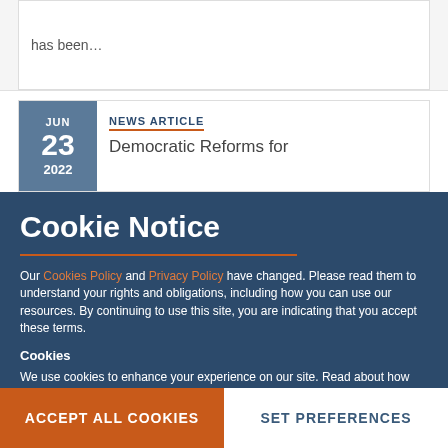has been…
NEWS ARTICLE
JUN 23 2022
Democratic Reforms for
Cookie Notice
Our Cookies Policy and Privacy Policy have changed. Please read them to understand your rights and obligations, including how you can use our resources. By continuing to use this site, you are indicating that you accept these terms.
Cookies
We use cookies to enhance your experience on our site. Read about how we use cookies and how you can control them here. By continuing to use this site, without changing your settings, you are indicating that you accept this policy.
ACCEPT ALL COOKIES
SET PREFERENCES